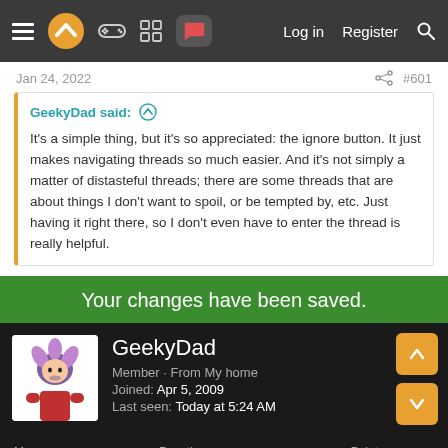Log in  Register
Jan 24, 2022  #601
GeekyDad said: ↑

It's a simple thing, but it's so appreciated: the ignore button. It just makes navigating threads so much easier. And it's not simply a matter of distasteful threads; there are some threads that are about things I don't want to spoil, or be tempted by, etc. Just having it right there, so I don't even have to enter the thread is really helpful.
Your changes have been saved.
GeekyDad
Member · From My home
Joined: Apr 5, 2009
Last seen: Today at 5:24 AM
Messages 7,424  Reaction score 1,816  Points 1,260